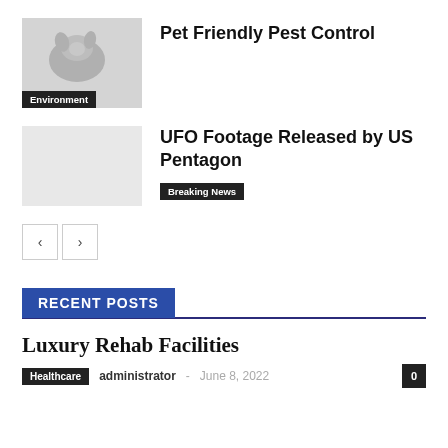[Figure (photo): Thumbnail image of a pet (dog) for Pet Friendly Pest Control article, with Environment badge overlay]
Pet Friendly Pest Control
[Figure (photo): Thumbnail image placeholder for UFO Footage article]
UFO Footage Released by US Pentagon
Breaking News
[Figure (other): Navigation previous/next buttons: < and >]
RECENT POSTS
Luxury Rehab Facilities
Healthcare  administrator  -  June 8, 2022  0